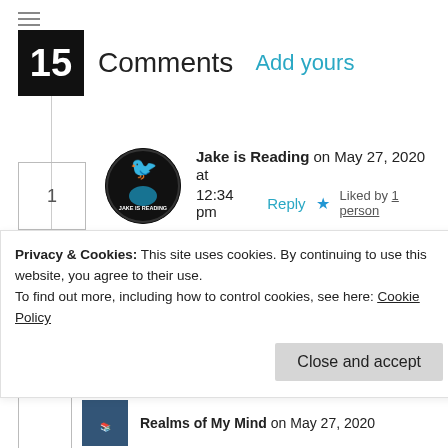15 Comments Add yours
Jake is Reading on May 27, 2020 at 12:34 pm  Reply  ★ Liked by 1 person
I haven't read any Melissa Caruso but I'm super interested in this one!
Privacy & Cookies: This site uses cookies. By continuing to use this website, you agree to their use. To find out more, including how to control cookies, see here: Cookie Policy
Close and accept
Realms of My Mind on May 27, 2020